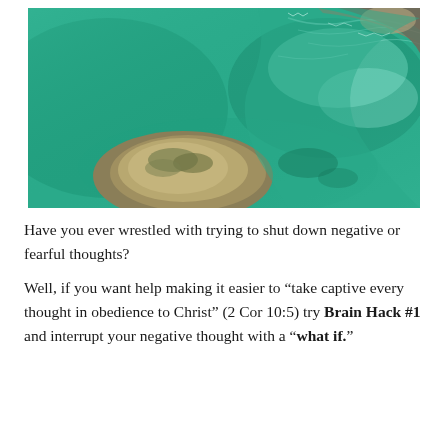[Figure (photo): Aerial view of turquoise-green ocean water with two sandy/rocky land formations visible from above, creating a channel between them.]
Have you ever wrestled with trying to shut down negative or fearful thoughts?
Well, if you want help making it easier to “take captive every thought in obedience to Christ” (2 Cor 10:5) try Brain Hack #1 and interrupt your negative thought with a “what if.”